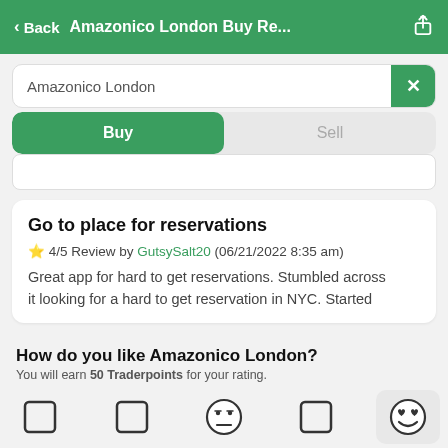< Back   Amazonico London Buy Re...
Amazonico London
Buy / Sell toggle
Go to place for reservations
⭐ 4/5 Review by GutsySalt20 (06/21/2022 8:35 am)
Great app for hard to get reservations. Stumbled across it looking for a hard to get reservation in NYC. Started
How do you like Amazonico London?
You will earn 50 Traderpoints for your rating.